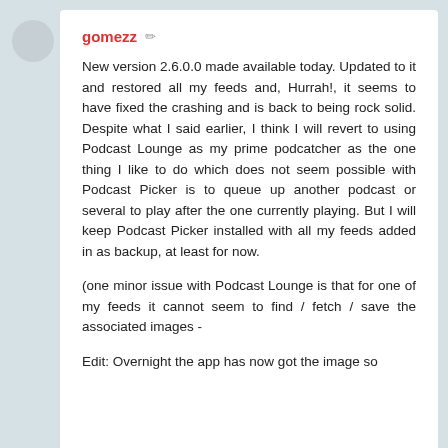gomezz
New version 2.6.0.0 made available today. Updated to it and restored all my feeds and, Hurrah!, it seems to have fixed the crashing and is back to being rock solid. Despite what I said earlier, I think I will revert to using Podcast Lounge as my prime podcatcher as the one thing I like to do which does not seem possible with Podcast Picker is to queue up another podcast or several to play after the one currently playing. But I will keep Podcast Picker installed with all my feeds added in as backup, at least for now.
(one minor issue with Podcast Lounge is that for one of my feeds it cannot seem to find / fetch / save the associated images -
Edit: Overnight the app has now got the image so